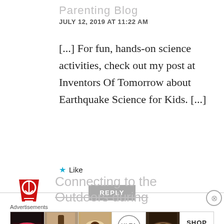Parenting Blog
JULY 12, 2019 AT  11:22 AM
[...] For fun, hands-on science activities, check out my post at Inventors Of Tomorrow about Earthquake Science for Kids. [...]
★ Like
REPLY
[Figure (illustration): Red lightbulb icon - logo for a blog or website]
Connecting to the Outdoors during
Advertisements
[Figure (photo): Ulta Beauty advertisement banner showing makeup/cosmetics images and SHOP NOW button]